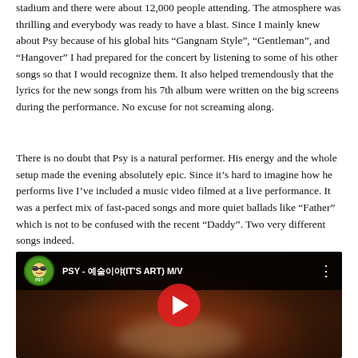stadium and there were about 12,000 people attending. The atmosphere was thrilling and everybody was ready to have a blast. Since I mainly knew about Psy because of his global hits “Gangnam Style”, “Gentleman”, and “Hangover” I had prepared for the concert by listening to some of his other songs so that I would recognize them. It also helped tremendously that the lyrics for the new songs from his 7th album were written on the big screens during the performance. No excuse for not screaming along.
There is no doubt that Psy is a natural performer. His energy and the whole setup made the evening absolutely epic. Since it’s hard to imagine how he performs live I’ve included a music video filmed at a live performance. It was a perfect mix of fast-paced songs and more quiet ballads like “Father” which is not to be confused with the recent “Daddy”. Two very different songs indeed.
[Figure (screenshot): Embedded YouTube video thumbnail showing PSY - 예술이야(IT'S ART) M/V with a concert crowd background and a red YouTube play button in the center. The top bar shows the PSY channel icon and video title.]